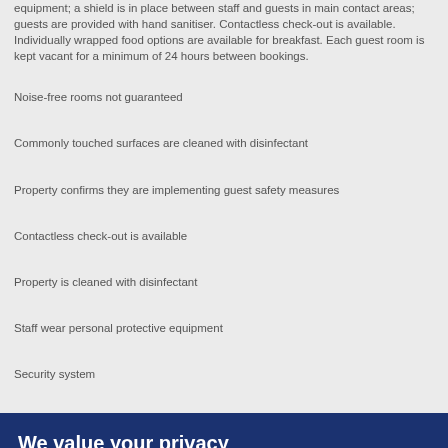equipment; a shield is in place between staff and guests in main contact areas; guests are provided with hand sanitiser. Contactless check-out is available. Individually wrapped food options are available for breakfast. Each guest room is kept vacant for a minimum of 24 hours between bookings.
Noise-free rooms not guaranteed
Commonly touched surfaces are cleaned with disinfectant
Property confirms they are implementing guest safety measures
Contactless check-out is available
Property is cleaned with disinfectant
Staff wear personal protective equipment
Security system
We value your privacy
This site uses cookies and similar technologies to analyse traffic, personalise content and ads, and provide social media features. Learn more and adjust settings.
Accept